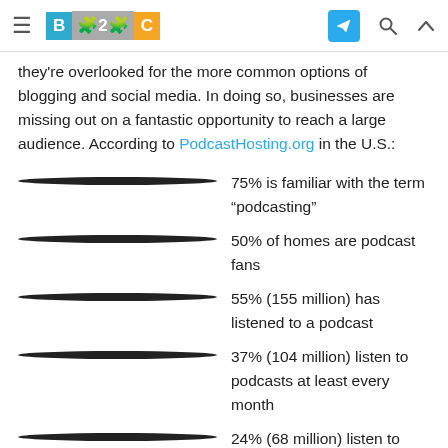B2C [logo] [telegram icon] [search icon] [up icon]
they're overlooked for the more common options of blogging and social media. In doing so, businesses are missing out on a fantastic opportunity to reach a large audience. According to PodcastHosting.org in the U.S.:
75% is familiar with the term “podcasting”
50% of homes are podcast fans
55% (155 million) has listened to a podcast
37% (104 million) listen to podcasts at least every month
24% (68 million) listen to podcasts weekly
As you can see, there are millions of people who listen to podcasts on a regular basis. Even gaining a small percentage of loyal listeners can have big benefits for your